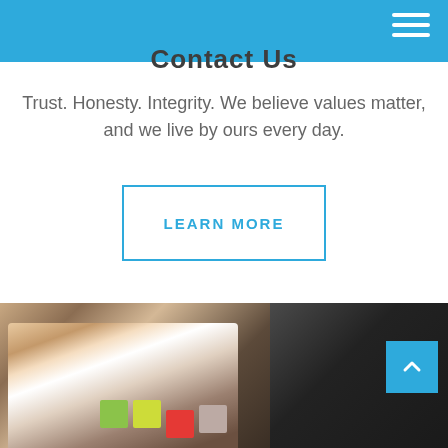Contact Us
Trust. Honesty. Integrity. We believe values matter, and we live by ours every day.
LEARN MORE
[Figure (photo): Bottom section showing two business photos side by side: left shows a person in a suit with sticky notes on a board (green, yellow-green, red, tan), right shows a darker image with a person. A blue back-to-top arrow button is in the bottom right corner.]